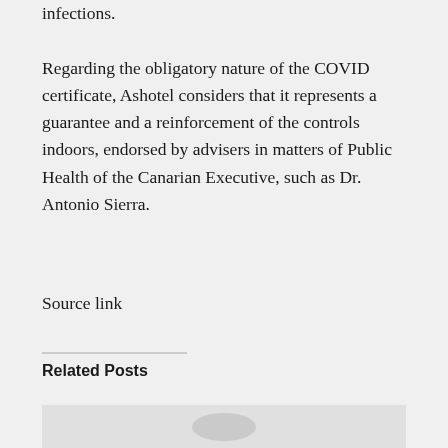infections.
Regarding the obligatory nature of the COVID certificate, Ashotel considers that it represents a guarantee and a reinforcement of the controls indoors, endorsed by advisers in matters of Public Health of the Canarian Executive, such as Dr. Antonio Sierra.
Source link
Related Posts